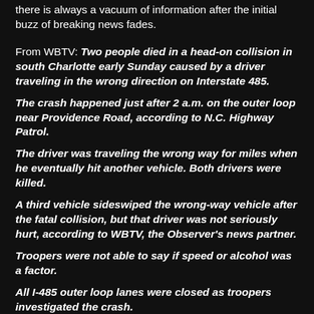there is always a vacuum of information after the initial buzz of breaking news fades.
From WBTV: Two people died in a head-on collision in south Charlotte early Sunday caused by a driver traveling in the wrong direction on Interstate 485.
The crash happened just after 2 a.m. on the outer loop near Providence Road, according to N.C. Highway Patrol.
The driver was traveling the wrong way for miles when he eventually hit another vehicle. Both drivers were killed.
A third vehicle sideswiped the wrong-way vehicle after the fatal collision, but that driver was not seriously hurt, according to WBTV, the Observer's news partner.
Troopers were not able to say if speed or alcohol was a factor.
All I-485 outer loop lanes were closed as troopers investigated the crash.